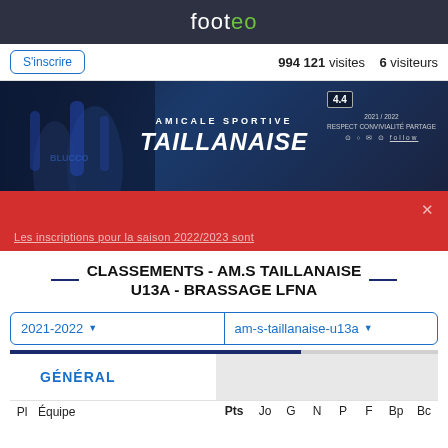footeo
S'inscrire  994 121 visites  6 visiteurs
[Figure (photo): Banner image for Amicale Sportive Taillanaise 2021/2022 with football players in blue uniforms]
Les inscriptions pour la saison 2022/2023 sont...
CLASSEMENTS - AM.S TAILLANAISE U13A - BRASSAGE LFNA
2021-2022  am-s-taillanaise-u13a
| GÉNÉRAL |  |
| --- | --- |
| Pl | Équipe | Pts | Jo | G | N | P | F | Bp | Bc |